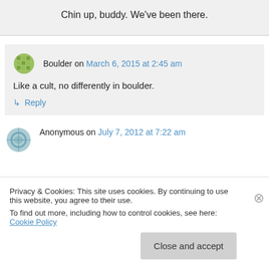Chin up, buddy. We've been there.
Boulder on March 6, 2015 at 2:45 am
Like a cult, no differently in boulder.
↳ Reply
Anonymous on July 7, 2012 at 7:22 am
Privacy & Cookies: This site uses cookies. By continuing to use this website, you agree to their use.
To find out more, including how to control cookies, see here: Cookie Policy
Close and accept